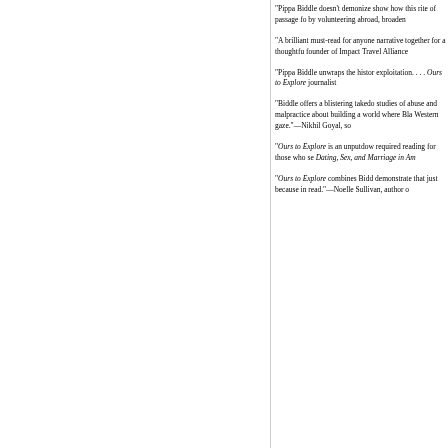"Pippa Biddle doesn't demonize show how this rite of passage fo by volunteering abroad, broaden
"A brilliant must-read for anyone narrative together for a thoughtfu founder of Impact Travel Alliance
"Pippa Biddle unwraps the histor exploitation. . . . Ours to Explore journalist
"Biddle offers a blistering takedo studies of abuse and malpractice about building a world where Bla Western gaze."—Nikhil Goyal, so
"Ours to Explore is an unputdow required reading for those who se Dating, Sex, and Marriage in Am
"Ours to Explore combines Bidd demonstrate that just because in read."—Noelle Sullivan, author o